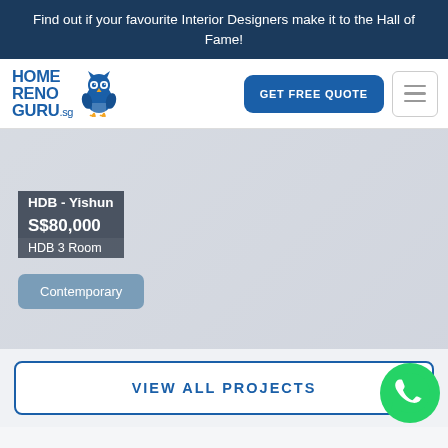Find out if your favourite Interior Designers make it to the Hall of Fame!
[Figure (logo): HomeRenoGuru.sg logo with owl icon]
GET FREE QUOTE
HDB - Yishun
S$80,000
HDB 3 Room
Contemporary
VIEW ALL PROJECTS